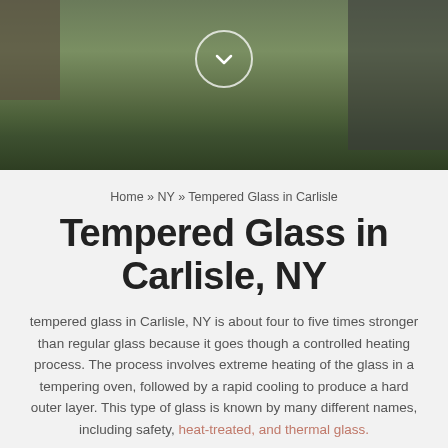[Figure (photo): Photograph of a residential property with green lawn, trees, and a dark stone or gravel wall/building in the background. A circular chevron-down button overlays the center of the image.]
Home » NY » Tempered Glass in Carlisle
Tempered Glass in Carlisle, NY
tempered glass in Carlisle, NY is about four to five times stronger than regular glass because it goes though a controlled heating process. The process involves extreme heating of the glass in a tempering oven, followed by a rapid cooling to produce a hard outer layer. This type of glass is known by many different names, including safety, heat-treated, and thermal glass.
Why Is Tempering Used?